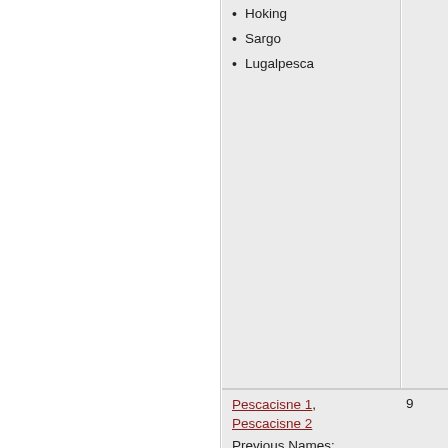Hoking
Sargo
Lugalpesca
Pescacisne 1, Pescacisne 2
Previous Names:
Zemour 1
9